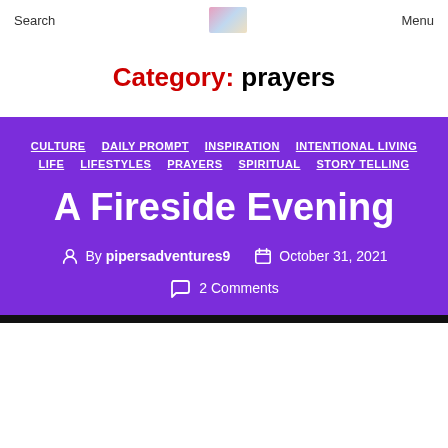Search   Menu
Category: prayers
CULTURE   DAILY PROMPT   INSPIRATION   INTENTIONAL LIVING   LIFE   LIFESTYLES   PRAYERS   SPIRITUAL   STORY TELLING
A Fireside Evening
By pipersadventures9
October 31, 2021
2 Comments